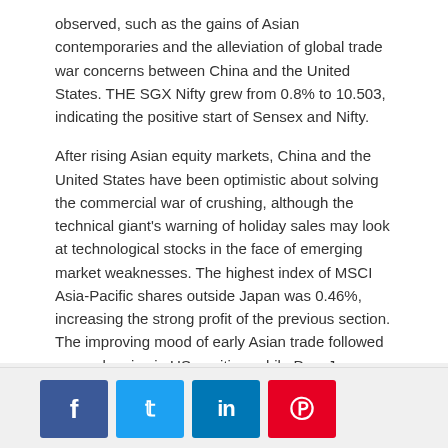observed, such as the gains of Asian contemporaries and the alleviation of global trade war concerns between China and the United States. THE SGX Nifty grew from 0.8% to 10.503, indicating the positive start of Sensex and Nifty.
After rising Asian equity markets, China and the United States have been optimistic about solving the commercial war of crushing, although the technical giant's warning of holiday sales may look at technological stocks in the face of emerging market weaknesses. The highest index of MSCI Asia-Pacific shares outside Japan was 0.46%, increasing the strong profit of the previous section. The improving mood of early Asian trade followed a one-day rise in US equities, while Dow Jones Industrial Average and S & P 500 had 1.06 percent, while Nasdaq Composite gained 1.75 percent, the Reuters report said. The most important elements of today's trade are presented.
[ad_2]
Source link